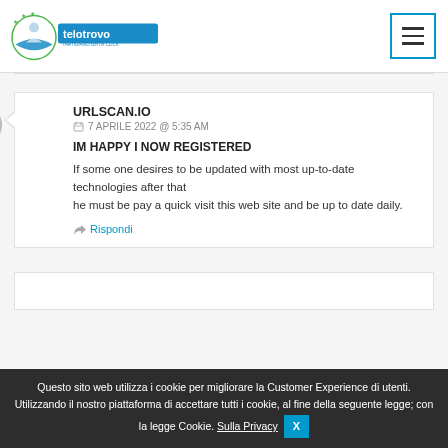telotrovo.it — l'ARTIGIANO con un CLICK
URLSCAN.IO
7 APRILE 2022 @ 5:35 AM
IM HAPPY I NOW REGISTERED
If some one desires to be updated with most up-to-date technologies after that he must be pay a quick visit this web site and be up to date daily.
Rispondi
Questo sito web utilizza i cookie per migliorare la Customer Experience di utenti. Utilizzando il nostro piattaforma di accettare tutti i cookie, al fine della seguente legge; con la legge Cookie. Sulla Privacy X